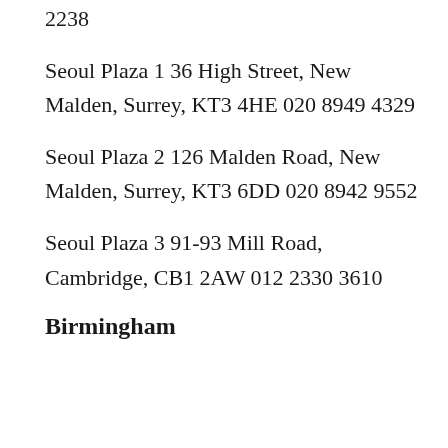2238
Seoul Plaza 1 36 High Street, New Malden, Surrey, KT3 4HE 020 8949 4329
Seoul Plaza 2 126 Malden Road, New Malden, Surrey, KT3 6DD 020 8942 9552
Seoul Plaza 3 91-93 Mill Road, Cambridge, CB1 2AW 012 2330 3610
Birmingham